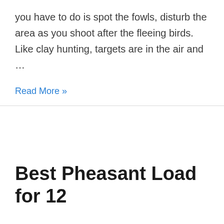you have to do is spot the fowls, disturb the area as you shoot after the fleeing birds. Like clay hunting, targets are in the air and ...
Read More »
Best Pheasant Load for 12